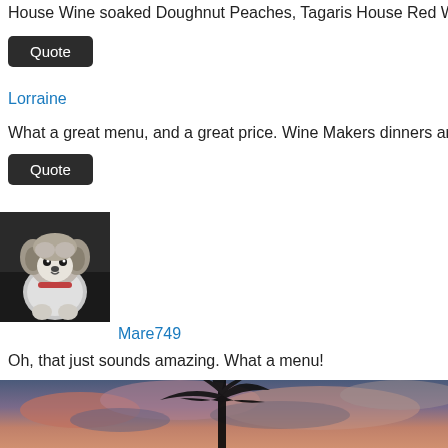House Wine soaked Doughnut Peaches, Tagaris House Red Wine Sor…
Quote
Lorraine
What a great menu, and a great price. Wine Makers dinners around he…
Quote
[Figure (photo): Small fluffy dog sitting, gray and white coloring]
Mare749
Oh, that just sounds amazing. What a menu!
Quote
[Figure (photo): Outdoor sky photo with palm tree silhouette and colorful sunset clouds]